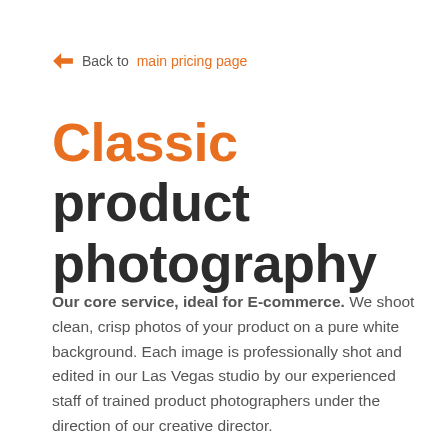← Back to main pricing page
Classic product photography
Our core service, ideal for E-commerce. We shoot clean, crisp photos of your product on a pure white background. Each image is professionally shot and edited in our Las Vegas studio by our experienced staff of trained product photographers under the direction of our creative director.